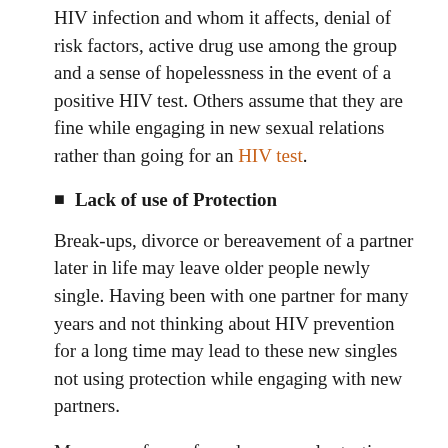HIV infection and whom it affects, denial of risk factors, active drug use among the group and a sense of hopelessness in the event of a positive HIV test. Others assume that they are fine while engaging in new sexual relations rather than going for an HIV test.
Lack of use of Protection
Break-ups, divorce or bereavement of a partner later in life may leave older people newly single. Having been with one partner for many years and not thinking about HIV prevention for a long time may lead to these new singles not using protection while engaging with new partners.
Messages of use of condoms, regular testing and new prevention methods for the infection may therefore not reach this group of people. Some